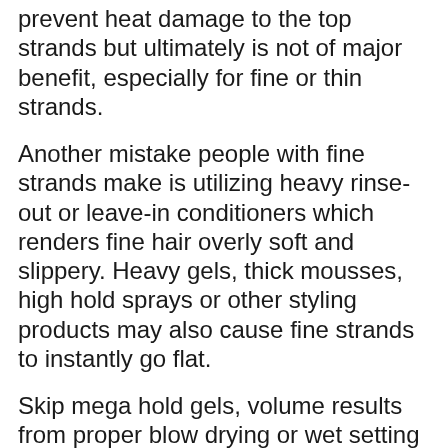prevent heat damage to the top strands but ultimately is not of major benefit, especially for fine or thin strands.
Another mistake people with fine strands make is utilizing heavy rinse-out or leave-in conditioners which renders fine hair overly soft and slippery. Heavy gels, thick mousses, high hold sprays or other styling products may also cause fine strands to instantly go flat.
Skip mega hold gels, volume results from proper blow drying or wet setting techniques.
How To Build Maximum